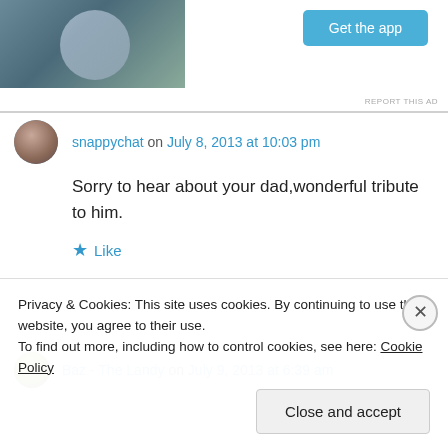[Figure (screenshot): Ad area with image on left and 'Get the app' button in teal/blue on right]
REPORT THIS AD
snappychat on July 8, 2013 at 10:03 pm
Sorry to hear about your dad,wonderful tribute to him.
Like
Baz - The Landy on July 9, 2013 at 6:39 am
Privacy & Cookies: This site uses cookies. By continuing to use this website, you agree to their use.
To find out more, including how to control cookies, see here: Cookie Policy
Close and accept